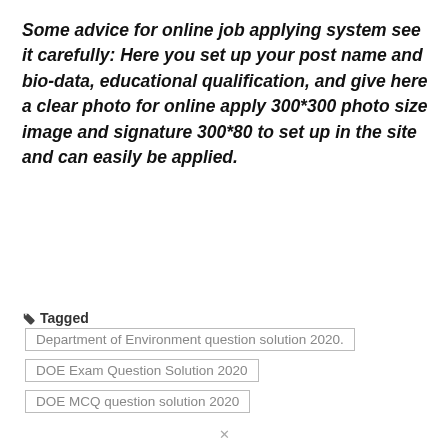Some advice for online job applying system see it carefully: Here you set up your post name and bio-data, educational qualification, and give here a clear photo for online apply 300*300 photo size image and signature 300*80 to set up in the site and can easily be applied.
Tagged  Department of Environment question solution 2020.  DOE Exam Question Solution 2020  DOE MCQ question solution 2020